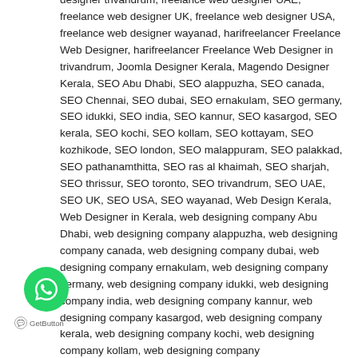designer trivandrum, freelance web designer UAE, freelance web designer UK, freelance web designer USA, freelance web designer wayanad, harifreelancer Freelance Web Designer, harifreelancer Freelance Web Designer in trivandrum, Joomla Designer Kerala, Magendo Designer Kerala, SEO Abu Dhabi, SEO alappuzha, SEO canada, SEO Chennai, SEO dubai, SEO ernakulam, SEO germany, SEO idukki, SEO india, SEO kannur, SEO kasargod, SEO kerala, SEO kochi, SEO kollam, SEO kottayam, SEO kozhikode, SEO london, SEO malappuram, SEO palakkad, SEO pathanamthitta, SEO ras al khaimah, SEO sharjah, SEO thrissur, SEO toronto, SEO trivandrum, SEO UAE, SEO UK, SEO USA, SEO wayanad, Web Design Kerala, Web Designer in Kerala, web designing company Abu Dhabi, web designing company alappuzha, web designing company canada, web designing company dubai, web designing company ernakulam, web designing company germany, web designing company idukki, web designing company india, web designing company kannur, web designing company kasargod, web designing company kerala, web designing company kochi, web designing company kollam, web designing company
[Figure (other): WhatsApp chat button - green circular button with WhatsApp logo]